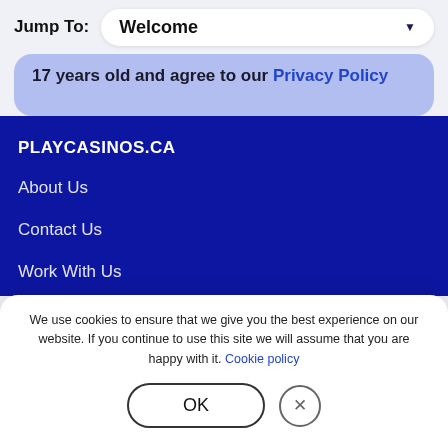Jump To: Welcome
17 years old and agree to our Privacy Policy
PLAYCASINOS.CA
About Us
Contact Us
Work With Us
We use cookies to ensure that we give you the best experience on our website. If you continue to use this site we will assume that you are happy with it. Cookie policy